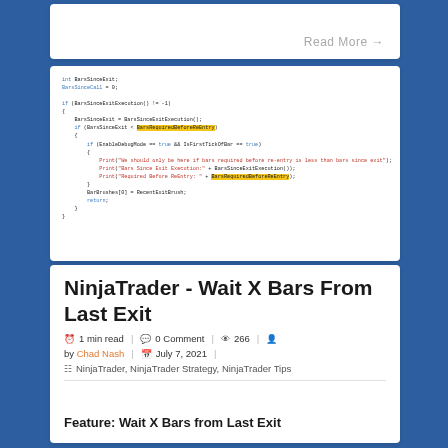Read More →
[Figure (screenshot): Code snippet showing NinjaTrader C# strategy code with highlighted variable BarsRequiredBeforeReEntry]
NinjaTrader - Wait X Bars From Last Exit
1 min read | 0 Comment | 266 | by Chad Nash | July 7, 2021
NinjaTrader, NinjaTrader Strategy, NinjaTrader Tips
Feature: Wait X Bars from Last Exit